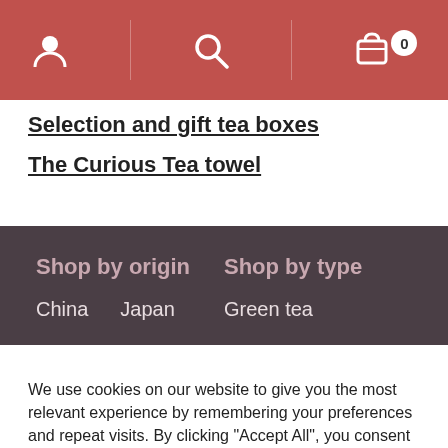Navigation header with user icon, search icon, and cart with 0 items
Selection and gift tea boxes
The Curious Tea towel
Shop by origin
Shop by type
China  Japan
Green tea
We use cookies on our website to give you the most relevant experience by remembering your preferences and repeat visits. By clicking "Accept All", you consent to the use of ALL the cookies. However, you may visit "Cookie Settings" to provide a controlled consent.
Cookie Settings  Accept All